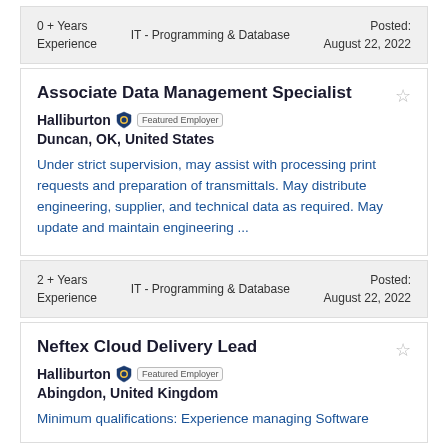0 + Years Experience   IT - Programming & Database   Posted: August 22, 2022
Associate Data Management Specialist
Halliburton Featured Employer
Duncan, OK, United States
Under strict supervision, may assist with processing print requests and preparation of transmittals. May distribute engineering, supplier, and technical data as required. May update and maintain engineering ...
2 + Years Experience   IT - Programming & Database   Posted: August 22, 2022
Neftex Cloud Delivery Lead
Halliburton Featured Employer
Abingdon, United Kingdom
Minimum qualifications: Experience managing Software